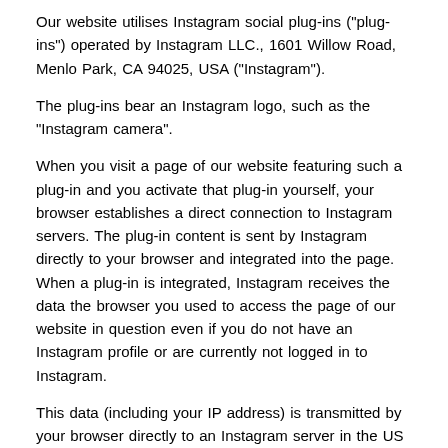Our website utilises Instagram social plug-ins ("plug-ins") operated by Instagram LLC., 1601 Willow Road, Menlo Park, CA 94025, USA ("Instagram").
The plug-ins bear an Instagram logo, such as the "Instagram camera".
When you visit a page of our website featuring such a plug-in and you activate that plug-in yourself, your browser establishes a direct connection to Instagram servers. The plug-in content is sent by Instagram directly to your browser and integrated into the page. When a plug-in is integrated, Instagram receives the data the browser you used to access the page of our website in question even if you do not have an Instagram profile or are currently not logged in to Instagram.
This data (including your IP address) is transmitted by your browser directly to an Instagram server in the US and stored there. If you are logged into Instagram, Instagram can directly reference your visit to our website your Instagram account. If you interact with a plug-in such as by pressing an Instagram button, the corresponding information data is also transmitted